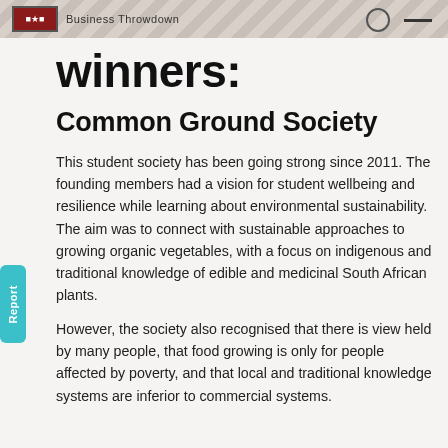Business Throwdown
winners:
Common Ground Society
This student society has been going strong since 2011. The founding members had a vision for student wellbeing and resilience while learning about environmental sustainability. The aim was to connect with sustainable approaches to growing organic vegetables, with a focus on indigenous and traditional knowledge of edible and medicinal South African plants.
However, the society also recognised that there is view held by many people, that food growing is only for people affected by poverty, and that local and traditional knowledge systems are inferior to commercial systems.